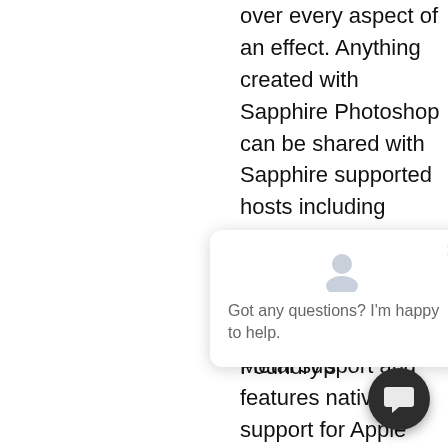over every aspect of an effect. Anything created with Sapphire Photoshop can be shared with Sapphire supported hosts including Adobe Premiere Pro, Blackmagic Resolve, Avid Media Composer. Foundry's
[Figure (screenshot): Chat popup widget with avatar icon, close button (×), and message 'Got any questions? I'm happy to help.']
with CUDA and Metal support and features native support for Apple M1 processors.
[Figure (other): Dark circular chat button with speech bubble icon]